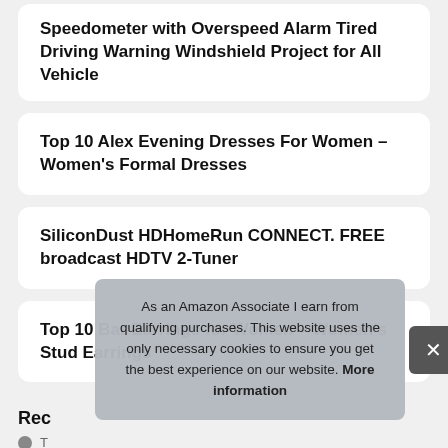Speedometer with Overspeed Alarm Tired Driving Warning Windshield Project for All Vehicle
Top 10 Alex Evening Dresses For Women – Women's Formal Dresses
SiliconDust HDHomeRun CONNECT. FREE broadcast HDTV 2-Tuner
Top 10 Bar Earrings for Women – Women's Stud Earrings
Rec
T…
Top 10 DKNY Bra 34B – Everyday Bras
As an Amazon Associate I earn from qualifying purchases. This website uses the only necessary cookies to ensure you get the best experience on our website. More information